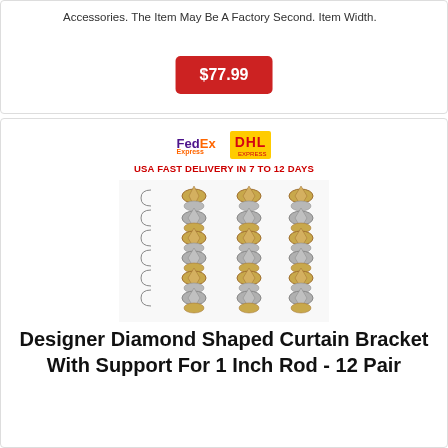Accessories. The Item May Be A Factory Second. Item Width.
$77.99
[Figure (photo): Product listing image showing curtain rod brackets with FedEx and DHL logos and text 'USA FAST DELIVERY IN 7 TO 12 DAYS'. Multiple pairs of designer diamond shaped curtain brackets in gold and silver finishes arranged in rows.]
Designer Diamond Shaped Curtain Bracket With Support For 1 Inch Rod - 12 Pair
Designer Diamond Shaped Curtain Bracket With Support For 1 Inch Rod -